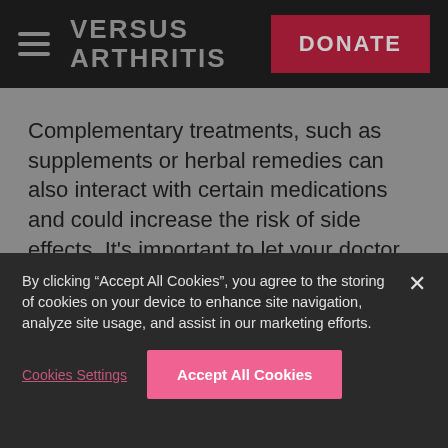VERSUS ARTHRITIS | DONATE
Complementary treatments, such as supplements or herbal remedies can also interact with certain medications and could increase the risk of side effects. It's important to let your doctor know if you take any complementary treatments.
BACK TO TOP
By clicking “Accept All Cookies”, you agree to the storing of cookies on your device to enhance site navigation, analyze site usage, and assist in our marketing efforts.
Cookies Settings
Accept All Cookies